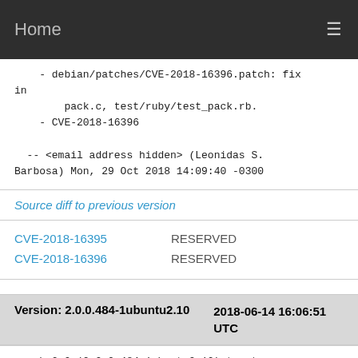Home
- debian/patches/CVE-2018-16396.patch: fix in
        pack.c, test/ruby/test_pack.rb.
    - CVE-2018-16396

  -- <email address hidden> (Leonidas S. Barbosa) Mon, 29 Oct 2018 14:09:40 -0300
Source diff to previous version
CVE-2018-16395    RESERVED
CVE-2018-16396    RESERVED
Version: 2.0.0.484-1ubuntu2.10    2018-06-14 16:06:51 UTC
ruby2.0 (2.0.0.484-1ubuntu2.10) trusty-security; urgency=medium